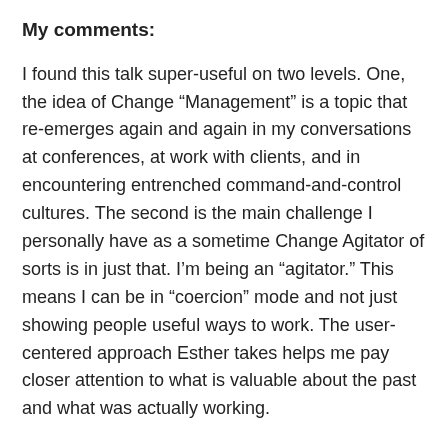My comments:
I found this talk super-useful on two levels. One, the idea of Change “Management” is a topic that re-emerges again and again in my conversations at conferences, at work with clients, and in encountering entrenched command-and-control cultures. The second is the main challenge I personally have as a sometime Change Agitator of sorts is in just that. I’m being an “agitator.” This means I can be in “coercion” mode and not just showing people useful ways to work. The user-centered approach Esther takes helps me pay closer attention to what is valuable about the past and what was actually working.
My main question would be about muscle memory. Because sometimes we think that some process or pattern is working “if only” people did it right. “If only they got the